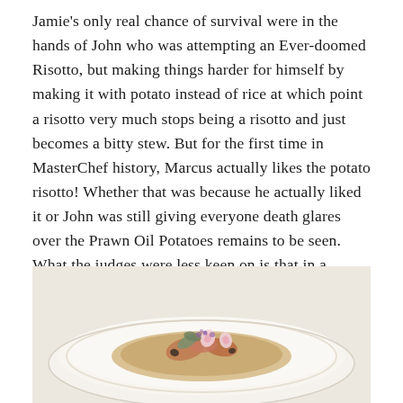Jamie's only real chance of survival were in the hands of John who was attempting an Ever-doomed Risotto, but making things harder for himself by making it with potato instead of rice at which point a risotto very much stops being a risotto and just becomes a bitty stew. But for the first time in MasterChef history, Marcus actually likes the potato risotto! Whether that was because he actually liked it or John was still giving everyone death glares over the Prawn Oil Potatoes remains to be seen. What the judges were less keen on is that in a traditionally British chef's immortal fear of serving up anything vegetarian, he proceeding to just lump a great big pork chop on top of the risotto for absolutely no reason
[Figure (photo): A white plate with a dish that appears to be a risotto topped with pieces of meat, garnished with purple micro herbs, thin radish slices, and sage leaves on a pale background.]